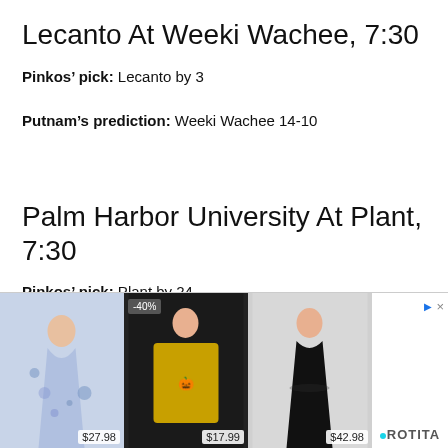Lecanto At Weeki Wachee, 7:30
Pinkos’ pick: Lecanto by 3
Putnam’s prediction: Weeki Wachee 14-10
Palm Harbor University At Plant, 7:30
Pinkos’ pick: Plant by 24
Putnam’s prediction: Plant 23-14
St. Petersburg Catholic At Plant City, 7:30
[Figure (photo): Advertisement banner showing clothing items from Rotita: a blue floral maxi dress ($27.98), a Halloween pumpkin sweater with -40% badge ($17.99), and a black midi dress ($42.98)]